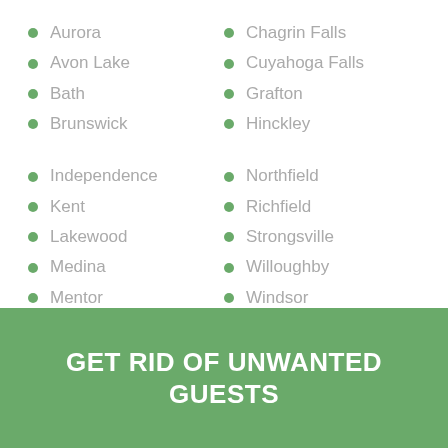Aurora
Avon Lake
Bath
Brunswick
Chagrin Falls
Cuyahoga Falls
Grafton
Hinckley
Independence
Kent
Lakewood
Medina
Mentor
Northfield
Richfield
Strongsville
Willoughby
Windsor
GET RID OF UNWANTED GUESTS